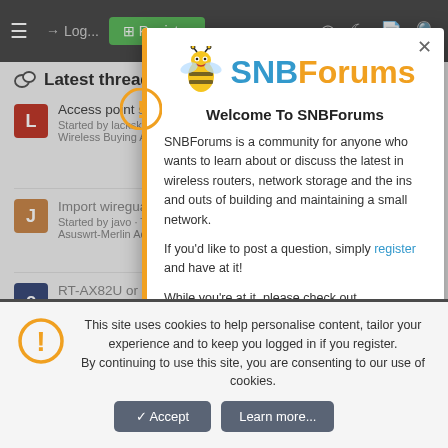Login | Register
Latest threads
Access point suggestions - Started by lackskill · 15 min ago · Wireless Buying Advice
Import wireguard .conf file from windows - Started by javo · Today · Asuswrt-Merlin AddOns
RT-AX82U or RT-AX... - Started by cniedzi · Today · Wireless Buying Advice
[Figure (screenshot): SNBForums welcome modal dialog with bee mascot logo, welcome text, and registration prompt]
Welcome To SNBForums
SNBForums is a community for anyone who wants to learn about or discuss the latest in wireless routers, network storage and the ins and outs of building and maintaining a small network.
If you'd like to post a question, simply register and have at it!
While you're at it, please check out SmallNetBuilder for product reviews and our famous Router Charts, Ranker and plenty more!
This site uses cookies to help personalise content, tailor your experience and to keep you logged in if you register. By continuing to use this site, you are consenting to our use of cookies.
Accept | Learn more...